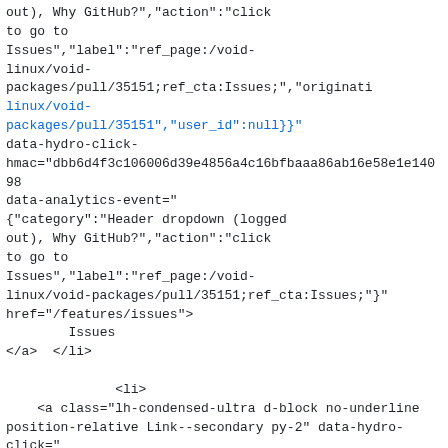out), Why GitHub?&quot;,&quot;action&quot;:&quot;click to go to Issues&quot;,&quot;label&quot;:&quot;ref_page:/void-linux/void-packages/pull/35151;ref_cta:Issues;&quot;,&quot;originating_url&quot;:&quot;https://github.com/void-linux/void-packages/pull/35151&quot;,&quot;user_id&quot;:null}}" data-hydro-click-hmac="dbb6d4f3c106006d39e4856a4c16bfbaaa86ab16e58e1e14098... data-analytics-event=" {&quot;category&quot;:&quot;Header dropdown (logged out), Why GitHub?&quot;,&quot;action&quot;:&quot;click to go to Issues&quot;,&quot;label&quot;:&quot;ref_page:/void-linux/void-packages/pull/35151;ref_cta:Issues;&quot;}" href="/features/issues">         Issues </a>  </li>           <li>      <a class="lh-condensed-ultra d-block no-underline position-relative Link--secondary py-2" data-hydro-click=" {&quot;event_type&quot;:&quot;analytics.event&quot;,&quot;... {&quot;category&quot;:&quot;Header dropdown (logged out), Why GitHub?&quot;,&quot;action&quot;:&quot;click to go to Integrations&quot;,&quot;label&quot;:&quot;ref_page:/void-linux/void-packages/pull/35151;ref_cta:Integrations;&quot;,&quot;or...